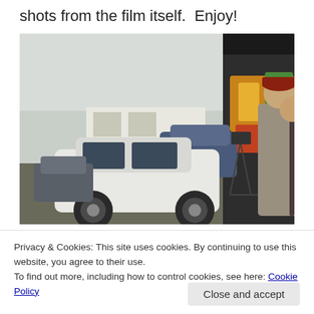shots from the film itself.  Enjoy!
[Figure (photo): Film crew shooting a scene outdoors: a white MINI Cooper parked in a lot, a cameraman on tripod wearing a red cap, another person partially visible on right, graffiti wall in background.]
Privacy & Cookies: This site uses cookies. By continuing to use this website, you agree to their use.
To find out more, including how to control cookies, see here: Cookie Policy
Close and accept